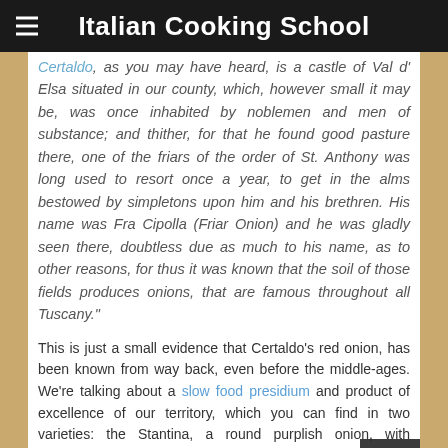Italian Cooking School
Certaldo, as you may have heard, is a castle of Val d' Elsa situated in our county, which, however small it may be, was once inhabited by noblemen and men of substance; and thither, for that he found good pasture there, one of the friars of the order of St. Anthony was long used to resort once a year, to get in the alms bestowed by simpletons upon him and his brethren. His name was Fra Cipolla (Friar Onion) and he was gladly seen there, doubtless due as much to his name, as to other reasons, for thus it was known that the soil of those fields produces onions, that are famous throughout all Tuscany."
This is just a small evidence that Certaldo's red onion, has been known from way back, even before the middle-ages. We're talking about a slow food presidium and product of excellence of our territory, which you can find in two varieties: the Stantina, a round purplish onion, with succulent flesh that's best eaten during the summer months, and the